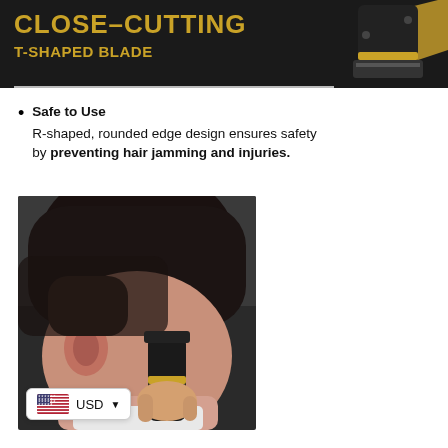[Figure (photo): Dark product banner showing a hair trimmer/clipper on black background with gold and black styling, top-right corner]
CLOSE-CUTTING T-SHAPED BLADE
Safe to Use — R-shaped, rounded edge design ensures safety by preventing hair jamming and injuries.
[Figure (photo): Photo of a person (child/young man) being given a haircut near the ear area with a black hair trimmer, showing a close fade haircut. A currency selector badge showing USD with a US flag is overlaid at the bottom-left of the photo.]